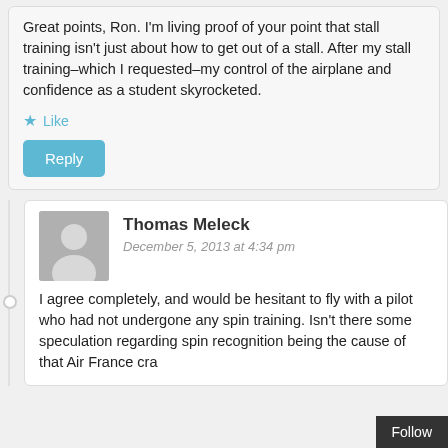Great points, Ron. I'm living proof of your point that stall training isn't just about how to get out of a stall. After my stall training–which I requested–my control of the airplane and confidence as a student skyrocketed.
Like
Reply
Thomas Meleck
December 5, 2013 at 4:34 pm
I agree completely, and would be hesitant to fly with a pilot who had not undergone any spin training. Isn't there some speculation regarding spin recognition being the cause of that Air France cra
Follow